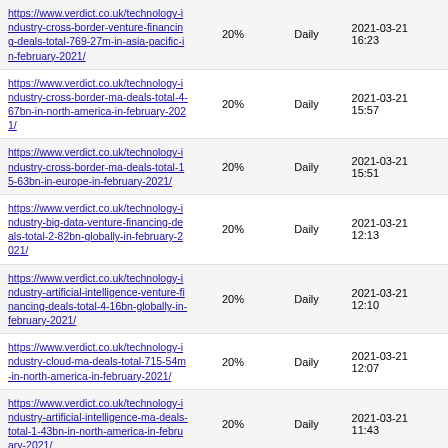| URL | Priority | Change Frequency | Last Modified |
| --- | --- | --- | --- |
| https://www.verdict.co.uk/technology-industry-cross-border-venture-financing-deals-total-769-27m-in-asia-pacific-in-february-2021/ | 20% | Daily | 2021-03-21 16:23 |
| https://www.verdict.co.uk/technology-industry-cross-border-ma-deals-total-4-67bn-in-north-america-in-february-2021/ | 20% | Daily | 2021-03-21 15:57 |
| https://www.verdict.co.uk/technology-industry-cross-border-ma-deals-total-15-63bn-in-europe-in-february-2021/ | 20% | Daily | 2021-03-21 15:51 |
| https://www.verdict.co.uk/technology-industry-big-data-venture-financing-deals-total-2-82bn-globally-in-february-2021/ | 20% | Daily | 2021-03-21 12:13 |
| https://www.verdict.co.uk/technology-industry-artificial-intelligence-venture-financing-deals-total-4-16bn-globally-in-february-2021/ | 20% | Daily | 2021-03-21 12:10 |
| https://www.verdict.co.uk/technology-industry-cloud-ma-deals-total-715-54m-in-north-america-in-february-2021/ | 20% | Daily | 2021-03-21 12:07 |
| https://www.verdict.co.uk/technology-industry-artificial-intelligence-ma-deals-total-1-43bn-in-north-america-in-february-2021/ | 20% | Daily | 2021-03-21 11:43 |
| https://www.verdict.co.uk/technology-industry-cloud-ma-deals-total-178-93m-in-europe-in-february-2021/ | 20% | Daily | 2021-03-21 11:37 |
| https://www.verdict.co.uk/technology-industry-internet-of-things-ma-deals-total-6-33bn-globally-in-february-2021/ | 20% | Daily | 2021-03-21 11:31 |